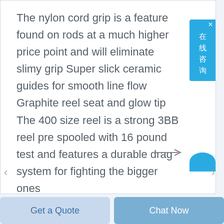The nylon cord grip is a feature found on rods at a much higher price point and will eliminate slimy grip Super slick ceramic guides for smooth line flow Graphite reel seat and glow tip The 400 size reel is a strong 3BB reel pre spooled with 16 pound test and features a durable drag system for fighting the bigger ones
[Figure (other): Blue online chat widget with Chinese text '在线咨询' (Online Consultation) with close button]
Get a Quote    Chat Now